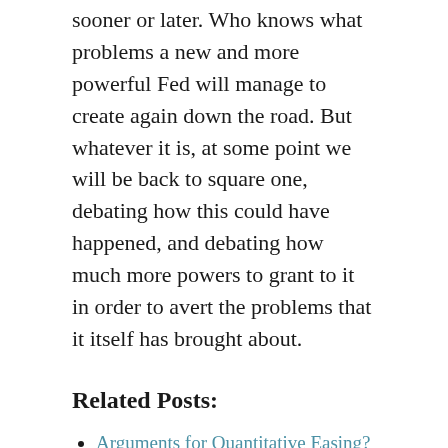sooner or later. Who knows what problems a new and more powerful Fed will manage to create again down the road. But whatever it is, at some point we will be back to square one, debating how this could have happened, and debating how much more powers to grant to it in order to avert the problems that it itself has brought about.
Related Posts:
Arguments for Quantitative Easing?
Fed Independence in Action – Bernanke Met With 26 Lawmakers Prior to Vote
Ron Paul on the Fed, Recessions, the Great Depression